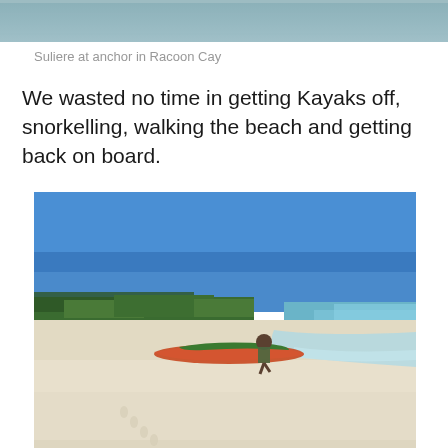[Figure (photo): Top portion of a photo showing water/sea with a gray-blue hue, cropped at the top of the page.]
Suliere at anchor in Racoon Cay
We wasted no time in getting Kayaks off, snorkelling, walking the beach and getting back on board.
[Figure (photo): A white sandy beach under a clear blue sky. A green and orange kayak is beached on the sand with a person sitting beside it. Green vegetation lines the background.]